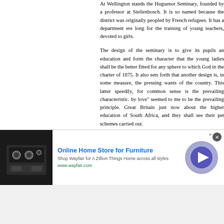At Wellington stands the Huguenot Seminary, founded by a professor at Stellenbosch. It is so named because the district was originally peopled by French refugees. It has a department ere long for the training of young teachers, devoted to girls.
The design of the seminary is to give its pupils an education and form the character that the young ladies shall be the better fitted for any sphere to which God in the charter of 1875. It also sets forth that another design is, in some measure, the pressing wants of the country. This latter speedily, for common sense is the prevailing characteristic. by love" seemed to me to be the prevailing principle. Great Britain just now about the higher education of South Africa, and they shall see their pet schemes carried out.
It chanced to be examination day—the last day, giving opportunity of seeing and hearing the results. Two American ladies brought over, as I understood, in the front row in front of the class. Order and method prevailed thoroughly. There was no ordering, no loud answer from the principal, Miss Ferguson, or a quiet re pupils acted with the quietness and discipline
[Figure (other): Advertisement banner for Wayfair Online Home Store for Furniture with stove/kitchen appliance image, play button, and close button]